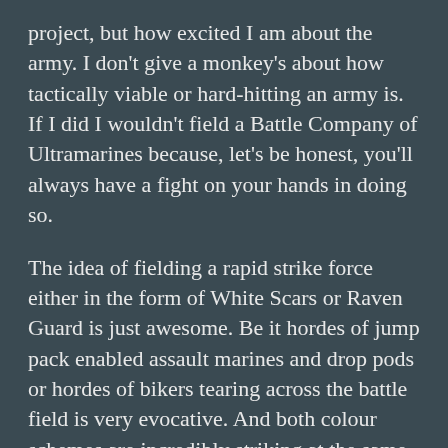project, but how excited I am about the army. I don't give a monkey's about how tactically viable or hard-hitting an army is. If I did I wouldn't field a Battle Company of Ultramarines because, let's be honest, you'll always have a fight on your hands in doing so.
The idea of fielding a rapid strike force either in the form of White Scars or Raven Guard is just awesome. Be it hordes of jump pack enabled assault marines and drop pods or hordes of bikers tearing across the battle field is very evocative. And both colour schemes are incredibly striking at the same time. Plus it brings with it a host of new tactical challenges and a whole new mentality.